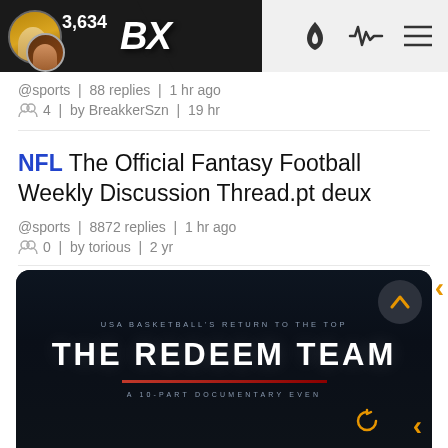BX 3,634
@sports | 88 replies | 1 hr ago
4 | by BreakkerSzn | 19 hr
NFL The Official Fantasy Football Weekly Discussion Thread.pt deux
@sports | 8872 replies | 1 hr ago
0 | by torious | 2 yr
[Figure (photo): Dark promotional image for 'THE REDEEM TEAM - USA BASKETBALL'S RETURN TO THE TOP - A 10-PART DOCUMENTARY EVENT' with white bold text on dark background and red underline]